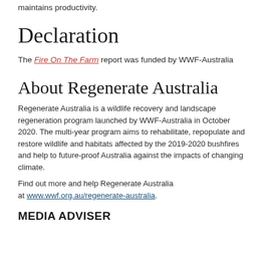maintains productivity.
Declaration
The Fire On The Farm report was funded by WWF-Australia
About Regenerate Australia
Regenerate Australia is a wildlife recovery and landscape regeneration program launched by WWF-Australia in October 2020. The multi-year program aims to rehabilitate, repopulate and restore wildlife and habitats affected by the 2019-2020 bushfires and help to future-proof Australia against the impacts of changing climate.
Find out more and help Regenerate Australia at www.wwf.org.au/regenerate-australia.
MEDIA ADVISER